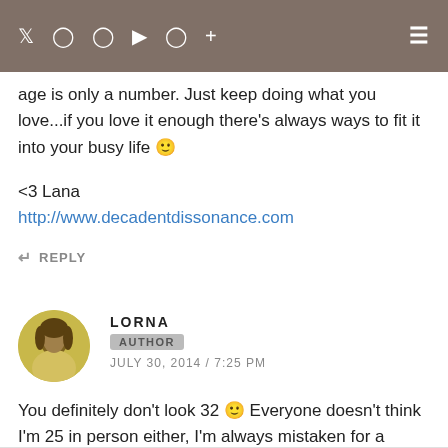Navigation bar with social icons: Twitter, Instagram, Pinterest, YouTube, Facebook, Plus, and hamburger menu
age is only a number. Just keep doing what you love...if you love it enough there's always ways to fit it into your busy life 🙂
<3 Lana
http://www.decadentdissonance.com
↩ REPLY
LORNA
AUTHOR
JULY 30, 2014 / 7:25 PM
You definitely don't look 32 🙂 Everyone doesn't think I'm 25 in person either, I'm always mistaken for a teenager, lol!
↩ REPLY